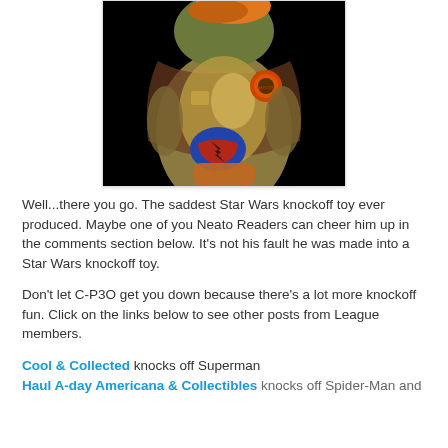[Figure (photo): Close-up photo of a Star Wars C-3PO knockoff toy against a black background, showing gold/brown fabric costume with an orange circular badge and a blue/red/orange shield emblem on the torso.]
Well...there you go. The saddest Star Wars knockoff toy ever produced. Maybe one of you Neato Readers can cheer him up in the comments section below. It's not his fault he was made into a Star Wars knockoff toy.
Don't let C-P3O get you down because there's a lot more knockoff fun. Click on the links below to see other posts from League members.
Cool & Collected knocks off Superman
Haul A-Day (appears cut off)